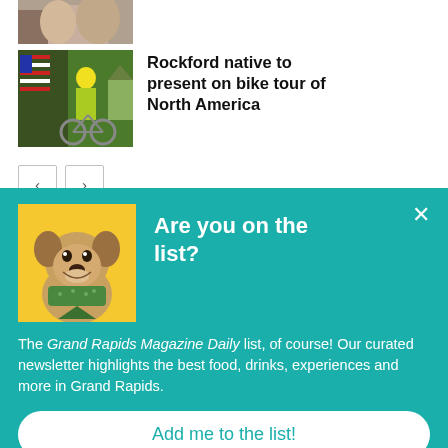[Figure (photo): Partially cropped photo at top of page showing people]
[Figure (photo): Man in bright yellow/green shirt standing in front of American flag and house with bicycle]
Rockford native to present on bike tour of North America
[Figure (other): Navigation previous/next arrow buttons]
[Figure (photo): French bulldog wearing a green bandana on yellow background — newsletter signup popup image]
Are you on the list?
The Grand Rapids Magazine Daily list, of course! Our curated newsletter highlights the best food, drinks, experiences and more in Grand Rapids.
Add me to the list!